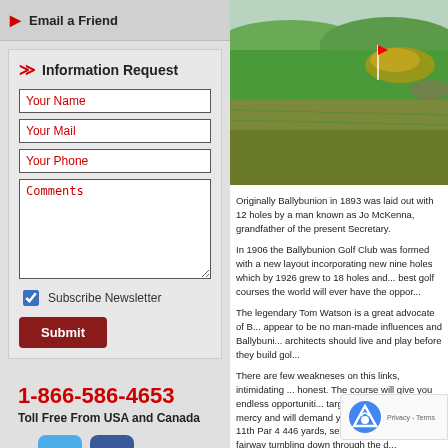Email a Friend
Information Request
Your Name
Your Mail
Your Phone
Comments
Subscribe Newsletter
Submit
1-866-586-4653
Toll Free From USA and Canada
[Figure (photo): Aerial/ground-level photo of a golf course with green fairways, sand bunkers, and rough terrain under natural light]
Originally Ballybunion in 1893 was laid out with 12 holes by a man known as Jo McKenna, grandfather of the present Secretary.
In 1906 the Ballybunion Golf Club was formed with a new layout incorporating new nine holes which by 1926 grew to 18 holes and ... best golf courses the world will ever have the oppor...
The legendary Tom Watson is a great advocate of B... appear to be no man-made influences and Ballybuni... architects should live and play before they build gol...
There are few weakneses on this links, intimidating ... honest. The course will give you endless opportuniti... targets. However it has no mercy and will demand y... favourite hole is the 11th Par 4 446 yards, set on a c... below and the fairway tumbling down through the d...
Tom Watson was made Honorary C... was the wedge he chipped in with a... become part of Ballybunion as so m... be taken by its charms too.